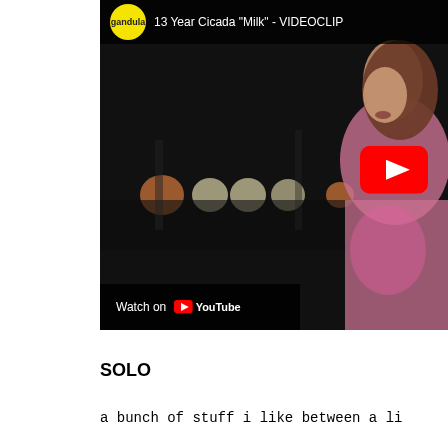[Figure (screenshot): YouTube video thumbnail for '13 Year Cicada "Milk" - VIDEOCLIP' showing a woman in a pink jacket on a dark street at night with bokeh lights in the background, with a YouTube play button overlay and a 'Watch on YouTube' bar at the bottom. The channel logo is 'gandula' in a yellow circle.]
SOLO
a bunch of stuff i like between a li